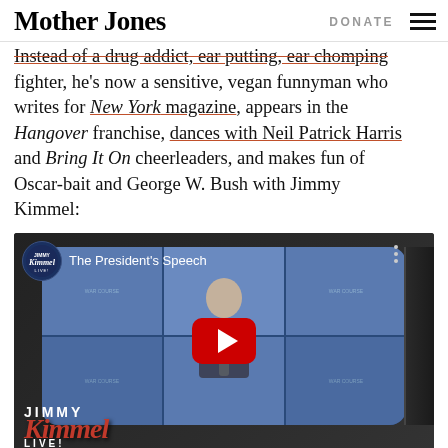Mother Jones | DONATE
Instead of a drug addict, ear-putting, ear-chomping fighter, he's now a sensitive, vegan funnyman who writes for New York magazine, appears in the Hangover franchise, dances with Neil Patrick Harris and Bring It On cheerleaders, and makes fun of Oscar-bait and George W. Bush with Jimmy Kimmel:
[Figure (screenshot): YouTube video thumbnail for 'The President's Speech' on Jimmy Kimmel Live channel, showing a vintage TV with a person at a podium. Red YouTube play button in center. Jimmy Kimmel Live logo at bottom left.]